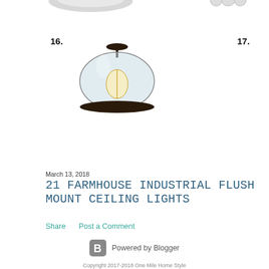[Figure (photo): Collage of farmhouse industrial flush mount ceiling lights numbered 16 through 21. Row 1 (partial, top): three ceiling lights cut off at top. Row 2: light 16 (vintage Edison bulb glass dome, dark finish), 17 (drum shade off-white linen, oil-rubbed bronze), 18 (black outdoor barn dome with seeded glass). Row 3: light 19 (rustic wood tone flat dome with frosted glass), 20 (industrial cage/wire dome brushed nickel finish), 21 (black metal open cage candelabra style with three candle bulbs).]
March 13, 2018
21 FARMHOUSE INDUSTRIAL FLUSH MOUNT CEILING LIGHTS
Share    Post a Comment
[Figure (logo): Blogger 'B' logo icon in gray square rounded rectangle, followed by text 'Powered by Blogger']
Copyright 2017-2018 One Mile Home Style